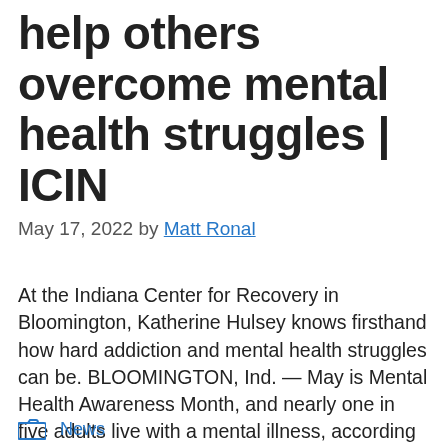help others overcome mental health struggles | ICIN
May 17, 2022 by Matt Ronal
At the Indiana Center for Recovery in Bloomington, Katherine Hulsey knows firsthand how hard addiction and mental health struggles can be. BLOOMINGTON, Ind. — May is Mental Health Awareness Month, and nearly one in five adults live with a mental illness, according to the National Institute of Mental Health. Now, one Hoosier is striving to … Read more
News